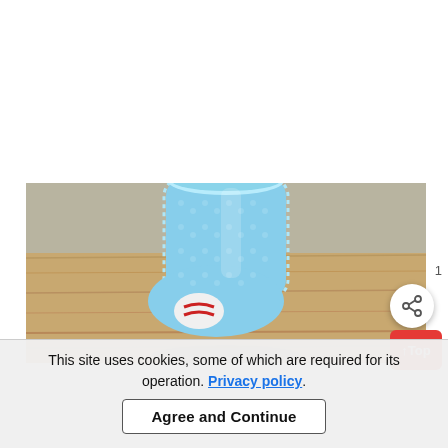[Figure (photo): A light blue crocheted baby sock/bootie on a wooden surface, shown from the side, with a small white and red decorative element at the toe area. The sock is fluffy textured light blue yarn, open at the top.]
This site uses cookies, some of which are required for its operation. Privacy policy.
Agree and Continue